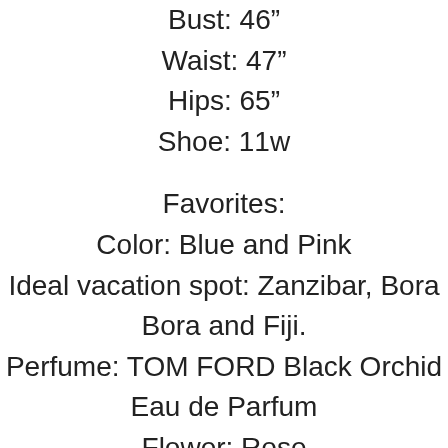Bust: 46"
Waist: 47"
Hips: 65"
Shoe: 11w
Favorites:
Color: Blue and Pink
Ideal vacation spot: Zanzibar, Bora Bora and Fiji.
Perfume: TOM FORD Black Orchid Eau de Parfum
Flower: Rose
Wine: Josh Merlot
Food: Seafood
Hobbies: Shopping, Swimming, Trying new recipes, Browsing social